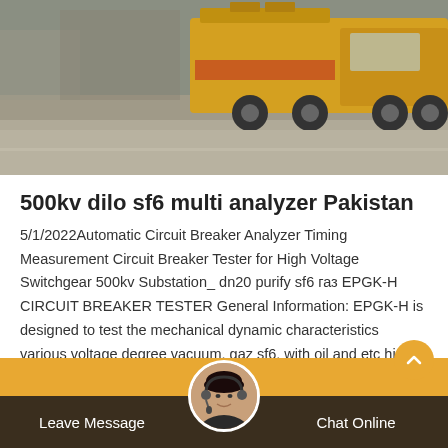[Figure (photo): Yellow utility truck/vehicle parked on a road or tarmac area, outdoor daylight setting]
500kv dilo sf6 multi analyzer Pakistan
5/1/2022Automatic Circuit Breaker Analyzer Timing Measurement Circuit Breaker Tester for High Voltage Switchgear 500kv Substation_ dn20 purify sf6 газ EPGK-H CIRCUIT BREAKER TESTER General Information: EPGK-H is designed to test the mechanical dynamic characteristics various voltage degree vacuum, gaz sf6, with oil and etc high
Leave Message   Chat Online